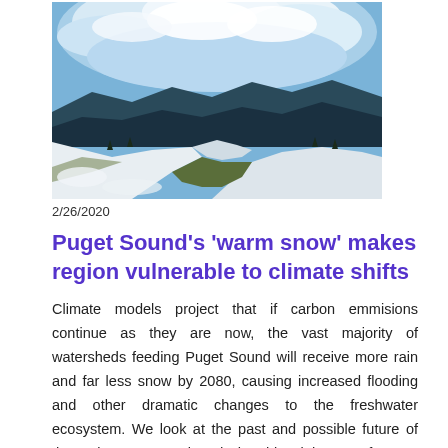[Figure (photo): Panoramic fisheye-style photo of a snowy mountain landscape with patches of white snow on hillsides, dark evergreen forest in the middle distance, and a dramatic blue sky with clouds above.]
2/26/2020
Puget Sound's 'warm snow' makes region vulnerable to climate shifts
Climate models project that if carbon emmisions continue as they are now, the vast majority of watersheds feeding Puget Sound will receive more rain and far less snow by 2080, causing increased flooding and other dramatic changes to the freshwater ecosystem. We look at the past and possible future of the region's snowpack and what this might mean for